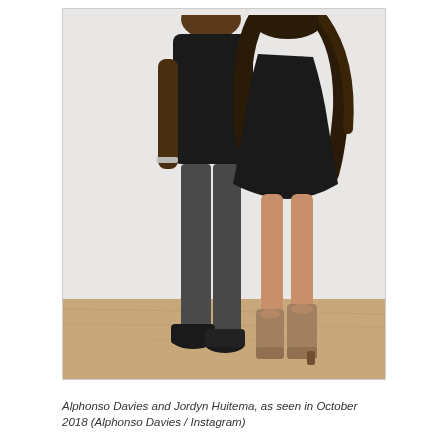[Figure (photo): A man and a woman posing together indoors. The man is tall, wearing a black shirt and dark grey slim pants with black shoes and a bracelet. The woman has long wavy hair, wears a black short dress and tan/beige open-toe ankle boots. They are standing close together with the man's arm around the woman. The background is a white wall and a light wood floor.]
Alphonso Davies and Jordyn Huitema, as seen in October 2018 (Alphonso Davies / Instagram)